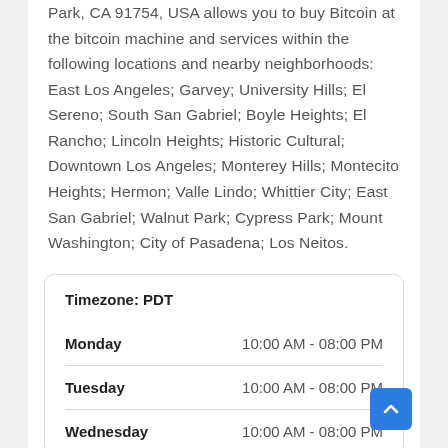Park, CA 91754, USA allows you to buy Bitcoin at the bitcoin machine and services within the following locations and nearby neighborhoods: East Los Angeles; Garvey; University Hills; El Sereno; South San Gabriel; Boyle Heights; El Rancho; Lincoln Heights; Historic Cultural; Downtown Los Angeles; Monterey Hills; Montecito Heights; Hermon; Valle Lindo; Whittier City; East San Gabriel; Walnut Park; Cypress Park; Mount Washington; City of Pasadena; Los Neitos.
| Day | Hours |
| --- | --- |
| Monday | 10:00 AM - 08:00 PM |
| Tuesday | 10:00 AM - 08:00 PM |
| Wednesday | 10:00 AM - 08:00 PM |